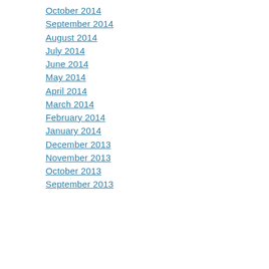October 2014
September 2014
August 2014
July 2014
June 2014
May 2014
April 2014
March 2014
February 2014
January 2014
December 2013
November 2013
October 2013
September 2013